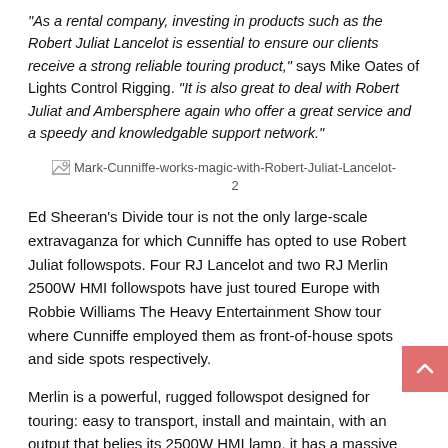“As a rental company, investing in products such as the Robert Juliat Lancelot is essential to ensure our clients receive a strong reliable touring product,” says Mike Oates of Lights Control Rigging. “It is also great to deal with Robert Juliat and Ambersphere again who offer a great service and a speedy and knowledgable support network.”
[Figure (photo): Broken image placeholder for Mark-Cunniffe-works-magic-with-Robert-Juliat-Lancelot-2]
Ed Sheeran’s Divide tour is not the only large-scale extravaganza for which Cunniffe has opted to use Robert Juliat followspots. Four RJ Lancelot and two RJ Merlin 2500W HMI followspots have just toured Europe with Robbie Williams The Heavy Entertainment Show tour where Cunniffe employed them as front-of-house spots and side spots respectively.
Merlin is a powerful, rugged followspot designed for touring: easy to transport, install and maintain, with an output that belies its 2500W HMI lamp, it has a massive